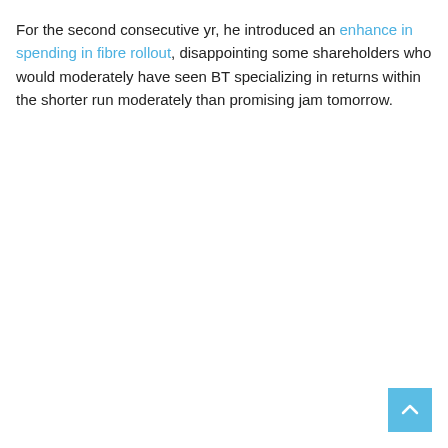For the second consecutive yr, he introduced an enhance in spending in fibre rollout, disappointing some shareholders who would moderately have seen BT specializing in returns within the shorter run moderately than promising jam tomorrow.